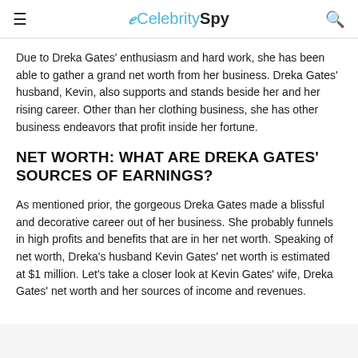eCelebritySpy
Due to Dreka Gates' enthusiasm and hard work, she has been able to gather a grand net worth from her business. Dreka Gates' husband, Kevin, also supports and stands beside her and her rising career. Other than her clothing business, she has other business endeavors that profit inside her fortune.
NET WORTH: WHAT ARE DREKA GATES' SOURCES OF EARNINGS?
As mentioned prior, the gorgeous Dreka Gates made a blissful and decorative career out of her business. She probably funnels in high profits and benefits that are in her net worth. Speaking of net worth, Dreka's husband Kevin Gates' net worth is estimated at $1 million. Let’s take a closer look at Kevin Gates’ wife, Dreka Gates’ net worth and her sources of income and revenues.